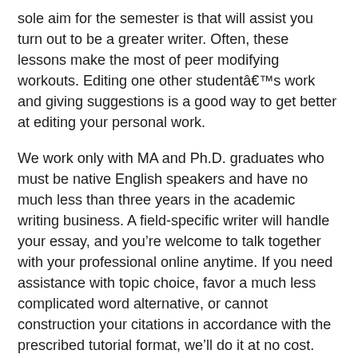sole aim for the semester is that will assist you turn out to be a greater writer. Often, these lessons make the most of peer modifying workouts. Editing one other studentââ€s work and giving suggestions is a good way to get better at editing your personal work.
We work only with MA and Ph.D. graduates who must be native English speakers and have no much less than three years in the academic writing business. A field-specific writer will handle your essay, and you’re welcome to talk together with your professional online anytime. If you need assistance with topic choice, favor a much less complicated word alternative, or cannot construction your citations in accordance with the prescribed tutorial format, we’ll do it at no cost. And remember to benefit from a free title web page, bibliography, double quality verify, revisions, buyer assist, and a direct chat with your expert. All our shoppers can communicate through an encrypted one-to-one chat with their professional essay writers.